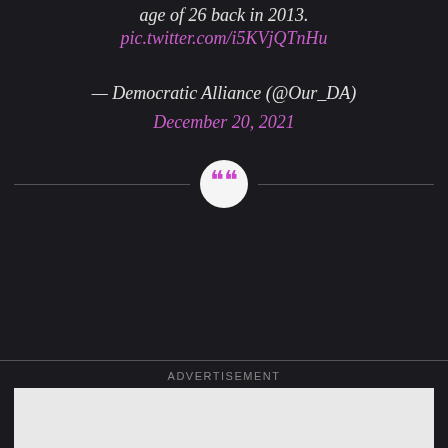age of 26 back in 2013. pic.twitter.com/i5KVjQTnHu
— Democratic Alliance (@Our_DA) December 20, 2021
[Figure (illustration): Horizontal divider line with a white circle containing pink/magenta quotation marks in the center]
ADVERTISEMENT
[Figure (other): Advertisement placeholder box with light grey background]